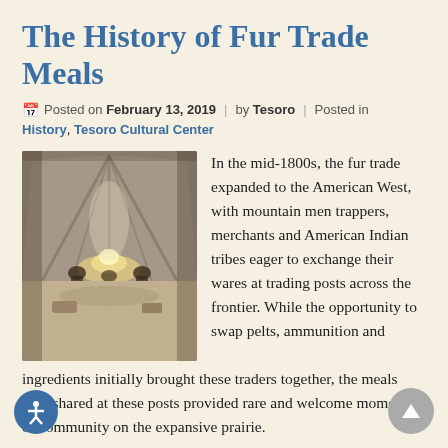The History of Fur Trade Meals
Posted on February 13, 2019 | by Tesoro | Posted in
History, Tesoro Cultural Center
[Figure (illustration): A historical pencil or charcoal sketch showing figures gathered around a fire inside what appears to be a large tent or trading post structure, with dramatic lighting and atmospheric shading.]
In the mid-1800s, the fur trade expanded to the American West, with mountain men trappers, merchants and American Indian tribes eager to exchange their wares at trading posts across the frontier. While the opportunity to swap pelts, ammunition and ingredients initially brought these traders together, the meals they shared at these posts provided rare and welcome moments of community on the expansive prairie.